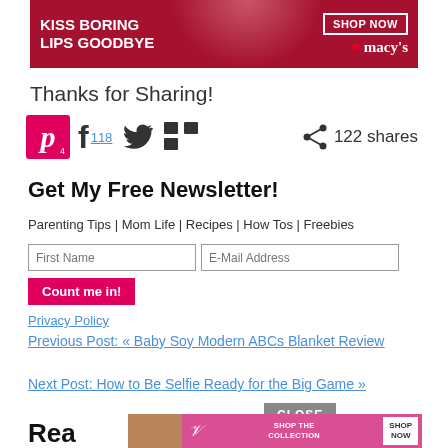[Figure (photo): Macy's advertisement banner: 'Kiss Boring Lips Goodbye' with woman's face and red lips, Shop Now button]
Thanks for Sharing!
[Figure (infographic): Social sharing icons: Pinterest (4), Facebook (118), Twitter, Mix, share icon with 122 shares]
Get My Free Newsletter!
Parenting Tips | Mom Life | Recipes | How Tos | Freebies
First Name input field, E-Mail Address input field, Count me in! button
Privacy Policy
Previous Post: « Baby Soy Modern ABCs Blanket Review
Next Post: How to Be Selfie Ready for the Big Game »
CLOSE
Rea
[Figure (photo): Victoria's Secret advertisement: Shop The Collection, Shop Now button, woman's face]